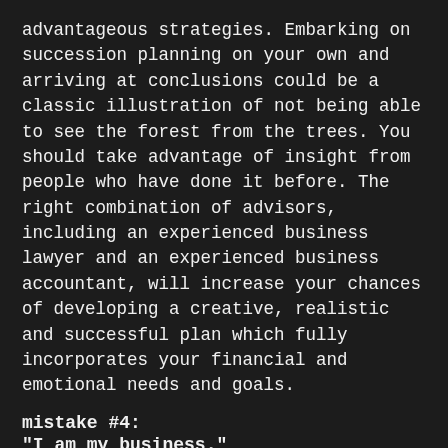advantageous strategies. Embarking on succession planning on your own and arriving at conclusions could be a classic illustration of not being able to see the forest from the trees. You should take advantage of insight from people who have done it before. The right combination of advisors,  including an experienced business lawyer and an experienced business accountant, will increase your chances of developing a creative, realistic and successful plan which fully incorporates your financial and emotional needs and goals.
mistake #4:
"I am my business."
Owners who have spent years building their businesses tend to identify strongly with their companies. Too often